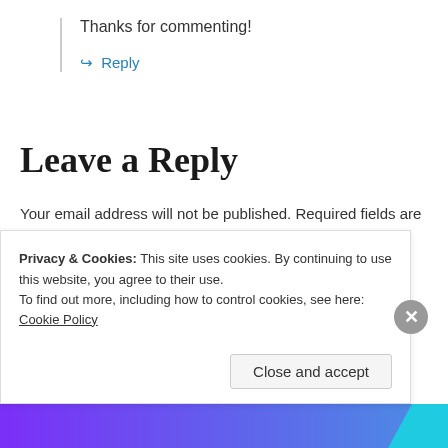Thanks for commenting!
↪ Reply
Leave a Reply
Your email address will not be published. Required fields are marked *
Comment *
Privacy & Cookies: This site uses cookies. By continuing to use this website, you agree to their use.
To find out more, including how to control cookies, see here: Cookie Policy
Close and accept